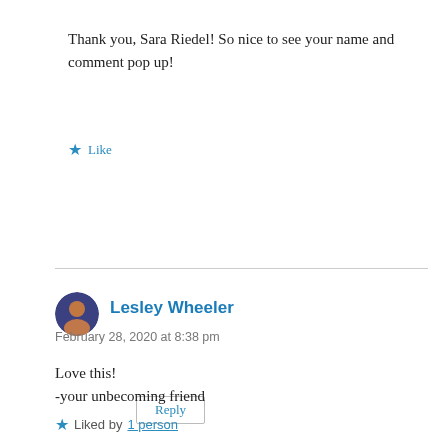Thank you, Sara Riedel! So nice to see your name and comment pop up!
Like
Reply
Lesley Wheeler
February 28, 2020 at 8:38 pm
Love this!
-your unbecoming friend
Liked by 1 person